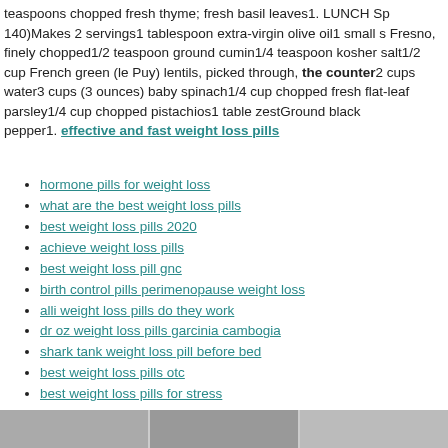teaspoons chopped fresh thyme; fresh basil leaves1. LUNCH Sp 140)Makes 2 servings1 tablespoon extra-virgin olive oil1 small s Fresno, finely chopped1/2 teaspoon ground cumin1/4 teaspoon kosher salt1/2 cup French green (le Puy) lentils, picked through, the counter2 cups water3 cups (3 ounces) baby spinach1/4 cup chopped fresh flat-leaf parsley1/4 cup chopped pistachios1 table zestGround black pepper1. effective and fast weight loss pills
hormone pills for weight loss
what are the best weight loss pills
best weight loss pills 2020
achieve weight loss pills
best weight loss pill gnc
birth control pills perimenopause weight loss
alli weight loss pills do they work
dr oz weight loss pills garcinia cambogia
shark tank weight loss pill before bed
best weight loss pills otc
best weight loss pills for stress
does going off the pill cause weight loss
what is the strongest weight loss prescription pill
recommended weight loss pills
determine weight loss pills
quadribiotic weight loss pill
the doctors tv show weight loss pills
best weight loss pills for women 2018